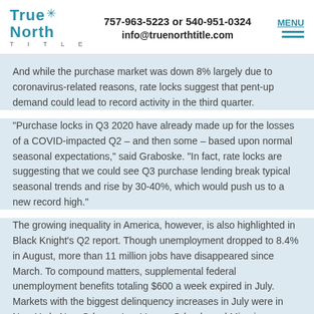757-963-5223 or 540-951-0324 | info@truenorthtitle.com | True North Title | MENU
And while the purchase market was down 8% largely due to coronavirus-related reasons, rate locks suggest that pent-up demand could lead to record activity in the third quarter.
“Purchase locks in Q3 2020 have already made up for the losses of a COVID-impacted Q2 – and then some – based upon normal seasonal expectations,” said Graboske. “In fact, rate locks are suggesting that we could see Q3 purchase lending break typical seasonal trends and rise by 30-40%, which would push us to a new record high.”
The growing inequality in America, however, is also highlighted in Black Knight’s Q2 report. Though unemployment dropped to 8.4% in August, more than 11 million jobs have disappeared since March. To compound matters, supplemental federal unemployment benefits totaling $600 a week expired in July. Markets with the biggest delinquency increases in July were in New York, New Orleans, Las Vegas, Orlando and Miami.